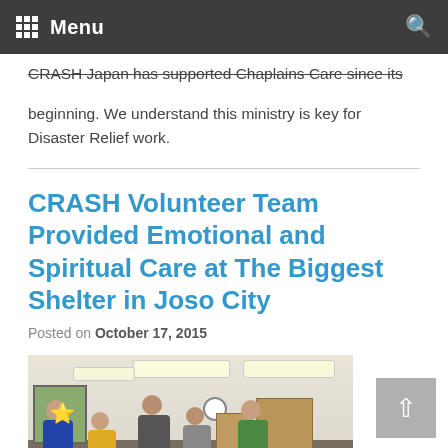Menu
CRASH Japan has supported Chaplains Care since its beginning. We understand this ministry is key for Disaster Relief work.
CRASH Volunteer Team Provided Emotional and Spiritual Care at The Biggest Shelter in Joso City
Posted on October 17, 2015
[Figure (photo): Indoor shelter room with fluorescent ceiling lights, a clock on the wall, wooden cabinets, and people (volunteers and evacuees) interacting around a table. Yellow stars overlaid on some faces.]